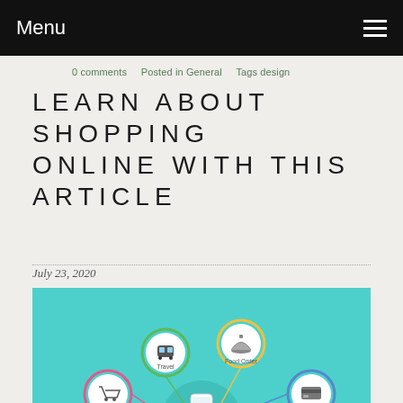Menu
0 comments   Posted in General   Tags design
LEARN ABOUT SHOPPING ONLINE WITH THIS ARTICLE
July 23, 2020
[Figure (infographic): Colorful infographic showing mobile online services including Travel, Food Order, Online Shopping, Cash Transfer, Movie, and Recharge icons connected to a central smartphone illustration on a teal background.]